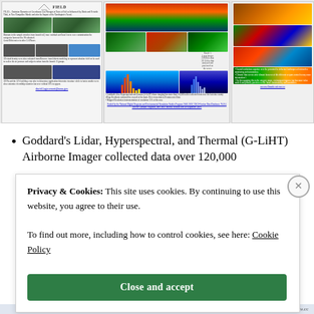[Figure (screenshot): Three scientific poster panels showing field research on lidar, hyperspectral, and thermal remote sensing. Left panel shows forest field data with dark tree images and text. Center panel shows satellite/aerial imagery of coastlines and delta regions with maps and histograms. Right panel shows false-color satellite imagery of coastal regions with bullet point findings.]
Goddard's Lidar, Hyperspectral, and Thermal (G-LiHT) Airborne Imager collected data over 120,000
Privacy & Cookies: This site uses cookies. By continuing to use this website, you agree to their use.
To find out more, including how to control cookies, see here: Cookie Policy
Close and accept